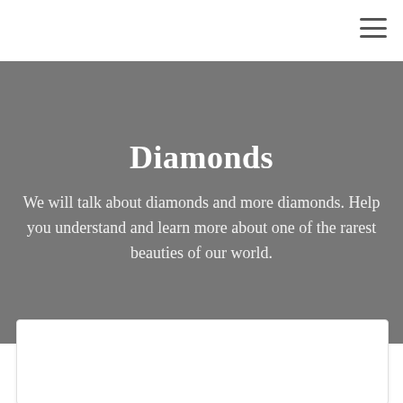Diamonds
We will talk about diamonds and more diamonds. Help you understand and learn more about one of the rarest beauties of our world.